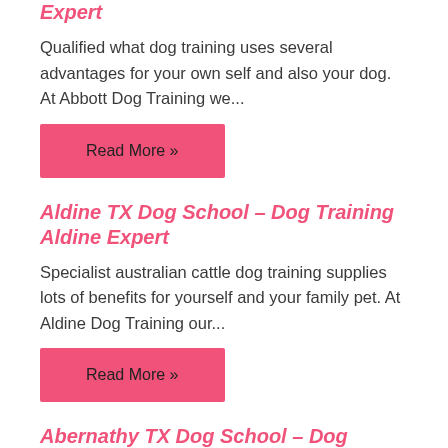Expert
Qualified what dog training uses several advantages for your own self and also your dog. At Abbott Dog Training we...
Read More »
Aldine TX Dog School – Dog Training Aldine Expert
Specialist australian cattle dog training supplies lots of benefits for yourself and your family pet. At Aldine Dog Training our...
Read More »
Abernathy TX Dog School – Dog Training Abernathy Expert
Professional carolina dog training delivers numerous perks on